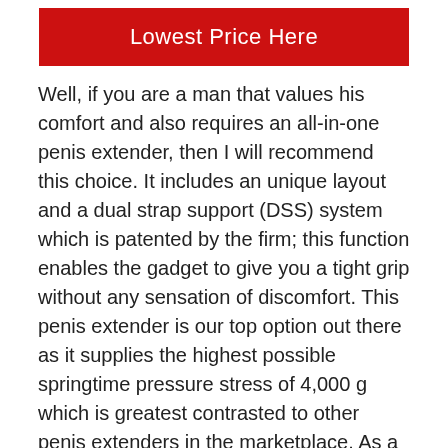[Figure (other): Red button with white text reading 'Lowest Price Here']
Well, if you are a man that values his comfort and also requires an all-in-one penis extender, then I will recommend this choice. It includes an unique layout and a dual strap support (DSS) system which is patented by the firm; this function enables the gadget to give you a tight grip without any sensation of discomfort. This penis extender is our top option out there as it supplies the highest possible springtime pressure stress of 4,000 g which is greatest contrasted to other penis extenders in the marketplace. As a result of this greater pressure, it supplies instant outcomes to users.
Furthermore, you have 4 bundles to choose from